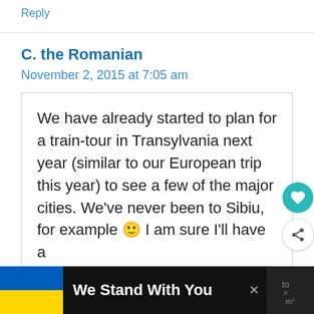Reply
C. the Romanian
November 2, 2015 at 7:05 am
We have already started to plan for a train-tour in Transylvania next year (similar to our European trip this year) to see a few of the major cities. We've never been to Sibiu, for example 🙂 I am sure I'll have a
[Figure (other): Advertisement bar at bottom: Ukrainian flag, text 'We Stand With You', close button]
[Figure (other): Floating action buttons: teal heart button and share button on right side]